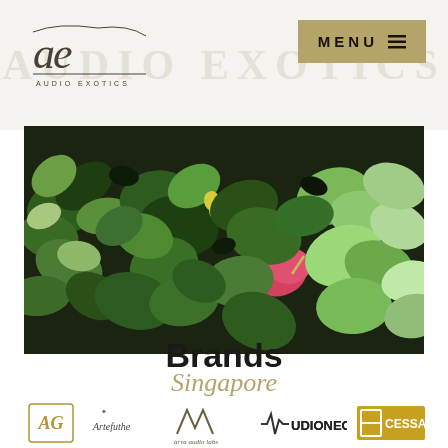[Figure (logo): Audio Exotics logo with stylized 'ae' cursive lettering and tagline 'AUDIO EXOTICS']
[Figure (other): Menu button with khaki/gold background, bold text 'MENU' and hamburger icon]
[Figure (photo): Horizontal panoramic photo of a dense green plant wall with various tropical leaves and a single pink anthurium flower]
Singapore
Brands
[Figure (logo): Row of brand logos: AG (stylized), Artefuthe (with bird icon), Arya Audio Labs (cursive), Audionec (with waveform), Cessaro (with geometric C icon)]